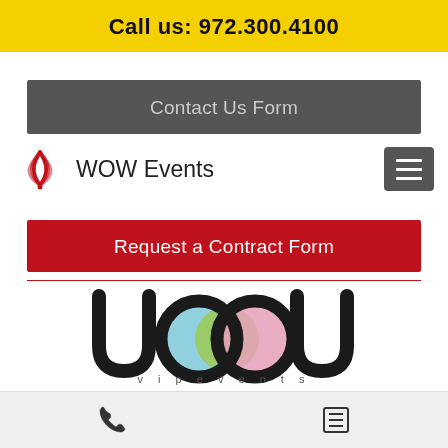Call us: 972.300.4100
Contact Us Form
[Figure (logo): WOW Events logo with red wave icon and hamburger menu button]
Request a Contract Form
[Figure (logo): WOW VIP Events stylized logo with colorful circles and vip events text]
Phone icon and list icon in bottom navigation bar